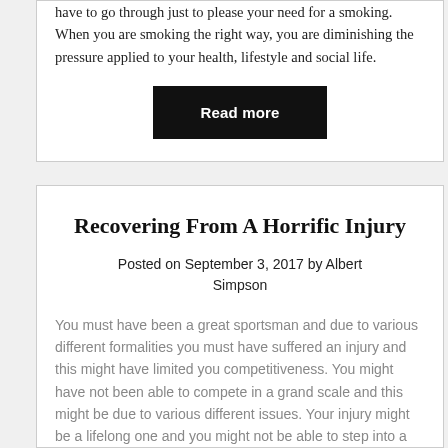have to go through just to please your need for a smoking. When you are smoking the right way, you are diminishing the pressure applied to your health, lifestyle and social life.
Read more
Recovering From A Horrific Injury
Posted on September 3, 2017 by Albert Simpson
You must have been a great sportsman and due to various different formalities you must have suffered an injury and this might have limited you competitiveness. You might have not been able to compete in a grand scale and this might be due to various different issues. Your injury might be a lifelong one and you might not be able to step into a field or on the other hand it might be a long lasting one. We